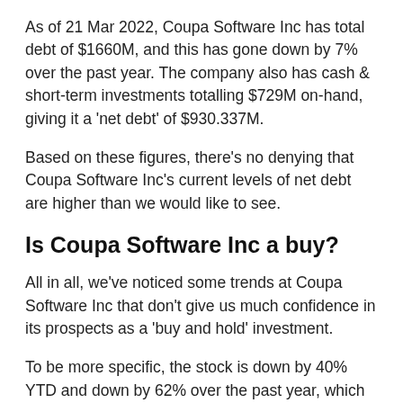As of 21 Mar 2022, Coupa Software Inc has total debt of $1660M, and this has gone down by 7% over the past year. The company also has cash & short-term investments totalling $729M on-hand, giving it a 'net debt' of $930.337M.
Based on these figures, there's no denying that Coupa Software Inc's current levels of net debt are higher than we would like to see.
Is Coupa Software Inc a buy?
All in all, we've noticed some trends at Coupa Software Inc that don't give us much confidence in its prospects as a 'buy and hold' investment.
To be more specific, the stock is down by 40% YTD and down by 62% over the past year, which is worrying. Moreover, the company is not showing positive EPS growth